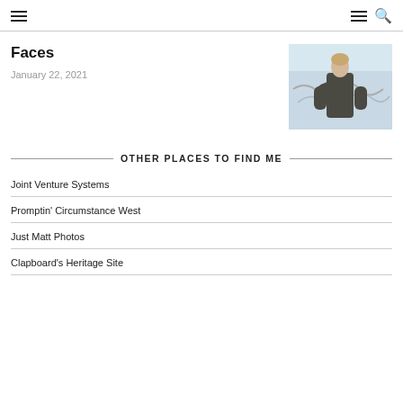navigation header with hamburger menus and search icon
Faces
January 22, 2021
[Figure (photo): Person in dark jacket viewed from behind, standing in front of a wall with graffiti]
OTHER PLACES TO FIND ME
Joint Venture Systems
Promptin' Circumstance West
Just Matt Photos
Clapboard's Heritage Site